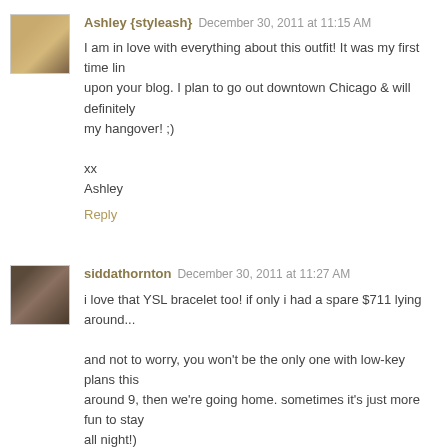Ashley {styleash}  December 30, 2011 at 11:15 AM
I am in love with everything about this outfit! It was my first time linking upon your blog. I plan to go out downtown Chicago & will definitely wear this for my hangover! ;)

xx
Ashley
Reply
siddathornton  December 30, 2011 at 11:27 AM
i love that YSL bracelet too! if only i had a spare $711 lying around...

and not to worry, you won't be the only one with low-key plans this around 9, then we're going home. sometimes it's just more fun to stay all night!)

i hope you have a lovely, relaxing weekend!
Reply
natasha {schue love}  December 30, 2011 at 11:32 AM